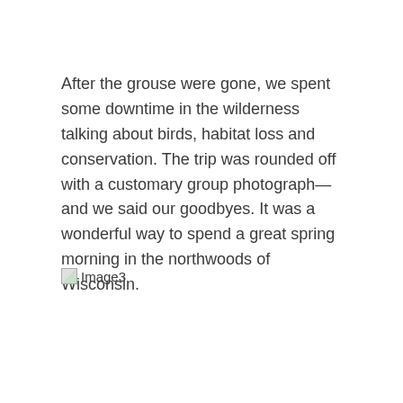After the grouse were gone, we spent some downtime in the wilderness talking about birds, habitat loss and conservation. The trip was rounded off with a customary group photograph—and we said our goodbyes. It was a wonderful way to spend a great spring morning in the northwoods of Wisconsin.
[Figure (photo): Broken image placeholder labeled 'Image3']